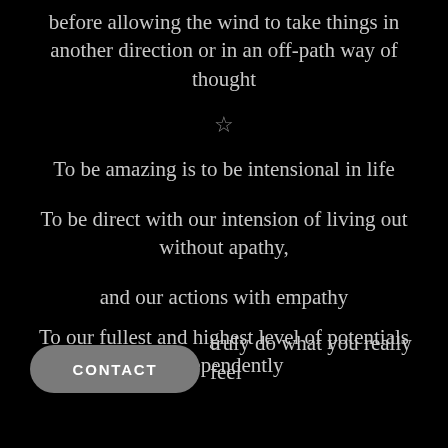before allowing the wind to take things in another direction or in an off-path way of thought
☆
To be amazing is to be intensional in life
To be direct with our intension of living out without apathy,
and our actions with empathy
To our fullest and highest level of potentials independently
CONTACT
truly do what you really feel